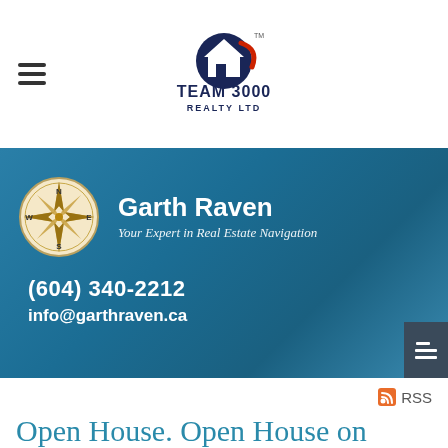Team 3000 Realty Ltd
[Figure (logo): Team 3000 Realty Ltd logo with house icon and compass rose]
Garth Raven
Your Expert in Real Estate Navigation
(604) 340-2212
info@garthraven.ca
RSS
Open House. Open House on Sunday, June 26, 2011 2:00 pm - 4:00 pm